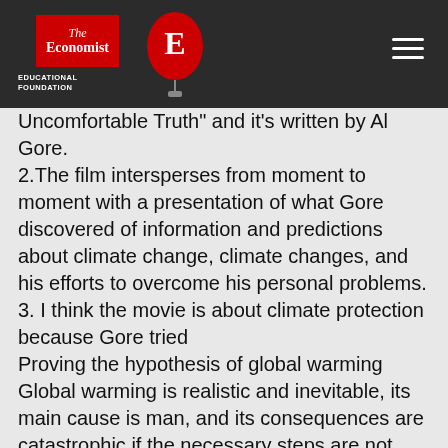The Economist Educational Foundation
Uncomfortable Truth" and it's written by Al Gore.
2.The film intersperses from moment to moment with a presentation of what Gore discovered of information and predictions about climate change, climate changes, and his efforts to overcome his personal problems.
3. I think the movie is about climate protection because Gore tried
Proving the hypothesis of global warming Global warming is realistic and inevitable, its main cause is man, and its consequences are catastrophic if the necessary steps are not taken to avoid it, and to support his hypothesis, Gore presented some data from curves and graphs.